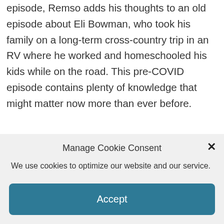episode, Remso adds his thoughts to an old episode about Eli Bowman, who took his family on a long-term cross-country trip in an RV where he worked and homeschooled his kids while on the road. This pre-COVID episode contains plenty of knowledge that might matter now more than ever before.
Newsletter
Sign up for Remso's newsletter so you get
Manage Cookie Consent
We use cookies to optimize our website and our service.
Accept